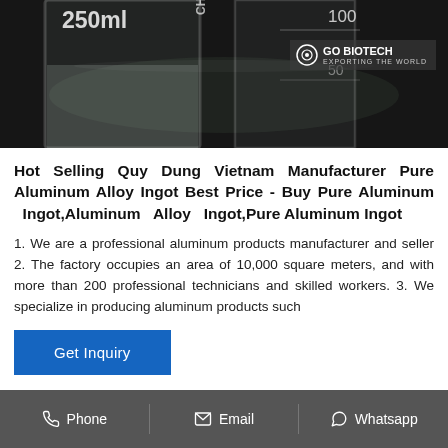[Figure (photo): Product photo showing glass laboratory beakers on a dark background with 'GO BIOTECH' watermark overlay. Beaker markings visible: 250ml, CHEN label, 100 and 50 graduations.]
Hot Selling Quy Dung Vietnam Manufacturer Pure Aluminum Alloy Ingot Best Price - Buy Pure Aluminum Ingot,Aluminum Alloy Ingot,Pure Aluminum Ingot
1. We are a professional aluminum products manufacturer and seller 2. The factory occupies an area of 10,000 square meters, and with more than 200 professional technicians and skilled workers. 3. We specialize in producing aluminum products such
Get Inquiry
Phone   Email   Whatsapp